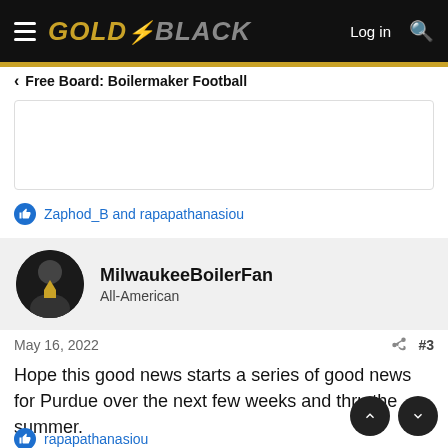GOLD & BLACK — Log in
Free Board: Boilermaker Football
Zaphod_B and rapapathanasiou
MilwaukeeBoilerFan
All-American
May 16, 2022  #3
Hope this good news starts a series of good news for Purdue over the next few weeks and thru the summer.
rapapathanasiou